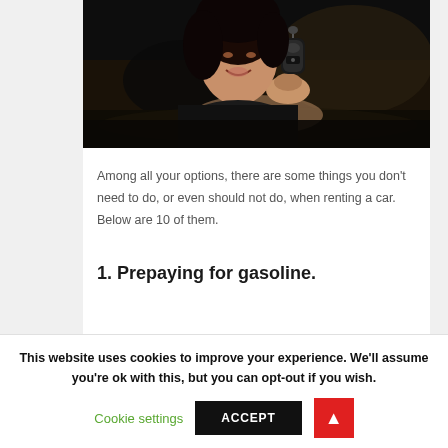[Figure (photo): A smiling Asian woman leaning out of a car window, holding up a car key/fob in her hand toward the camera. Dark background with car interior visible.]
Among all your options, there are some things you don't need to do, or even should not do, when renting a car. Below are 10 of them.
1. Prepaying for gasoline.
This website uses cookies to improve your experience. We'll assume you're ok with this, but you can opt-out if you wish.
Cookie settings
ACCEPT